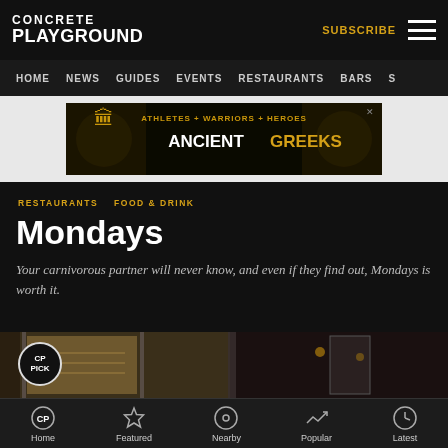CONCRETE PLAYGROUND
HOME  NEWS  GUIDES  EVENTS  RESTAURANTS  BARS  S
[Figure (infographic): Advertisement banner: ATHLETES + WARRIORS + HEROES ANCIENT GREEKS with golden horse statue and amphora images on dark background]
RESTAURANTS
FOOD & DRINK
Mondays
Your carnivorous partner will never know, and even if they find out, Mondays is worth it.
[Figure (photo): Restaurant exterior and interior photo showing marble facade, large windows, pendant lighting, shelving with pottery, with a CP PICK circular badge overlay]
Home  Featured  Nearby  Popular  Latest